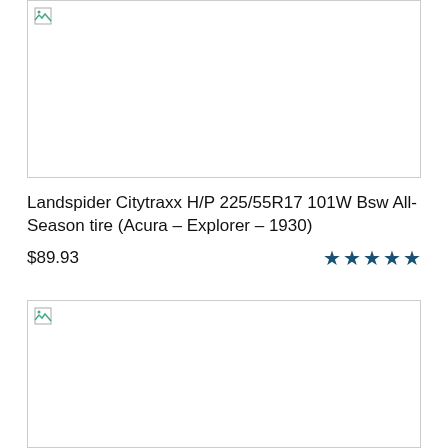[Figure (photo): Product image placeholder (broken image icon), top product]
Landspider Citytraxx H/P 225/55R17 101W Bsw All-Season tire (Acura – Explorer – 1930)
$89.93  ★★★★★
[Figure (photo): Product image placeholder (broken image icon), bottom product]